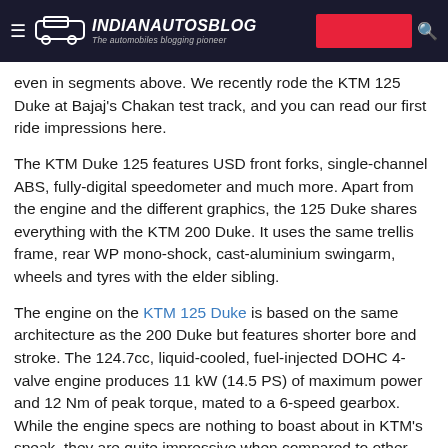IndianAutosBlog — The automobiles blogging pioneer
even in segments above. We recently rode the KTM 125 Duke at Bajaj's Chakan test track, and you can read our first ride impressions here.
The KTM Duke 125 features USD front forks, single-channel ABS, fully-digital speedometer and much more. Apart from the engine and the different graphics, the 125 Duke shares everything with the KTM 200 Duke. It uses the same trellis frame, rear WP mono-shock, cast-aluminium swingarm, wheels and tyres with the elder sibling.
The engine on the KTM 125 Duke is based on the same architecture as the 200 Duke but features shorter bore and stroke. The 124.7cc, liquid-cooled, fuel-injected DOHC 4-valve engine produces 11 kW (14.5 PS) of maximum power and 12 Nm of peak torque, mated to a 6-speed gearbox. While the engine specs are nothing to boast about in KTM's speak, they are quite impressive when compared to other bikes in the segment.